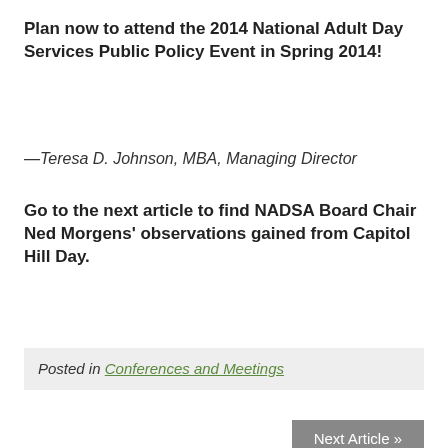Plan now to attend the 2014 National Adult Day Services Public Policy Event in Spring 2014!
—Teresa D. Johnson, MBA, Managing Director
Go to the next article to find NADSA Board Chair Ned Morgens' observations gained from Capitol Hill Day.
Posted in Conferences and Meetings
Next Article »